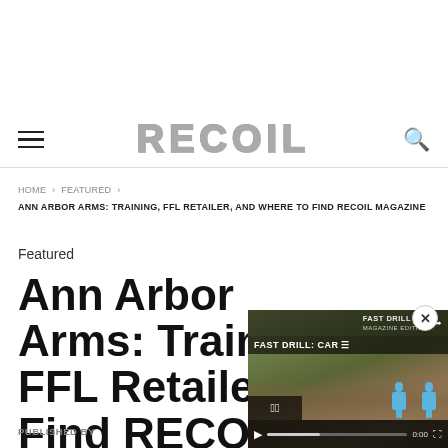RECOIL
HOME > FEATURED > ANN ARBOR ARMS: TRAINING, FFL RETAILER, AND WHERE TO FIND RECOIL MAGAZINE
Featured
Ann Arbor Arms: Training, FFL Retailer, and Find RECOIL
[Figure (screenshot): Video player overlay showing FAST DRILL: CAR video with play controls, mute button, progress bar showing 0:00, and expand button. Background shows outdoor shooting range scene with blue target silhouettes.]
PUBLISHED BY